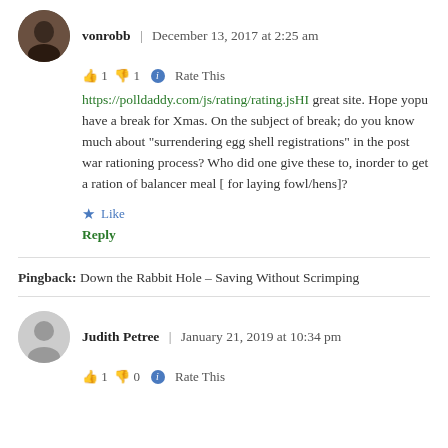vonrobb | December 13, 2017 at 2:25 am
👍 1 👎 1 ℹ Rate This
https://polldaddy.com/js/rating/rating.jsHI great site. Hope yopu have a break for Xmas. On the subject of break; do you know much about "surrendering egg shell registrations" in the post war rationing process? Who did one give these to, inorder to get a ration of balancer meal [ for laying fowl/hens]?
★ Like
Reply
Pingback: Down the Rabbit Hole – Saving Without Scrimping
Judith Petree | January 21, 2019 at 10:34 pm
👍 1 👎 0 ℹ Rate This